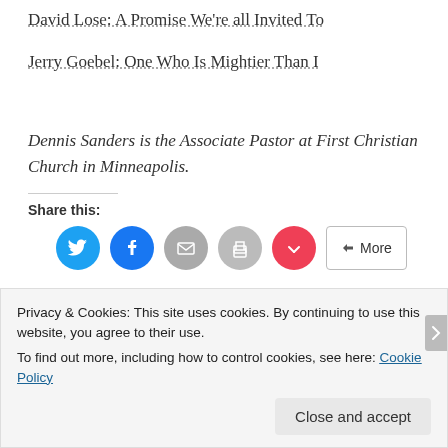David Lose: A Promise We're all Invited To
Jerry Goebel: One Who Is Mightier Than I
Dennis Sanders is the Associate Pastor at First Christian Church in Minneapolis.
Share this:
[Figure (other): Social share buttons: Twitter, Facebook, Email, Print, Pocket, and More]
Privacy & Cookies: This site uses cookies. By continuing to use this website, you agree to their use.
To find out more, including how to control cookies, see here: Cookie Policy